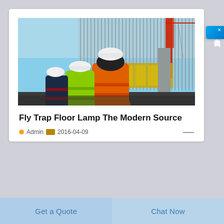[Figure (photo): Construction site with workers in high-visibility orange and green jackets and white hard hats, standing in front of dense vertical rebar and a red construction crane against a blue sky.]
Fly Trap Floor Lamp The Modern Source
Admin  2016-04-09
[Figure (other): Blue side widget with Chinese characters 在线咨询 (Online Consultation) and a close button]
Get a Quote
Chat Now